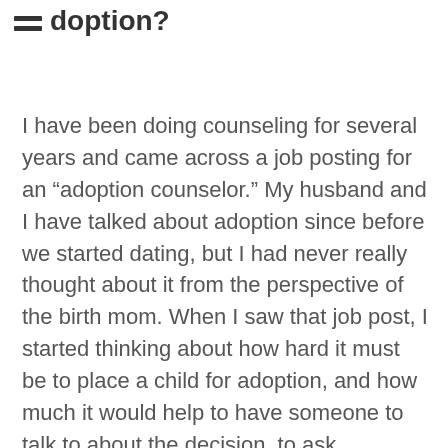doption?
I have been doing counseling for several years and came across a job posting for an “adoption counselor.” My husband and I have talked about adoption since before we started dating, but I had never really thought about it from the perspective of the birth mom. When I saw that job post, I started thinking about how hard it must be to place a child for adoption, and how much it would help to have someone to talk to about the decision, to ask questions, and just someone to be there. I feel privileged to be the one who can just be there with these women, to help them make a plan and get